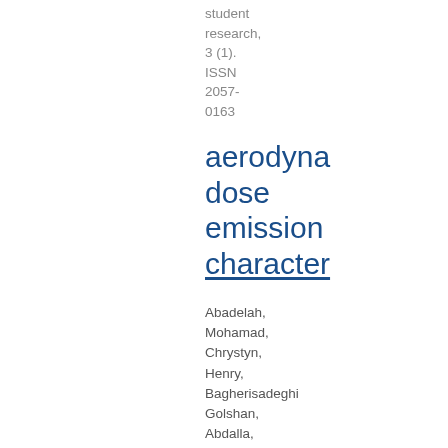student research, 3 (1). ISSN 2057-0163
aerodyna dose emission character
Abadelah, Mohamad, Chrystyn, Henry, Bagherisadeghi Golshan, Abdalla, Gaballa